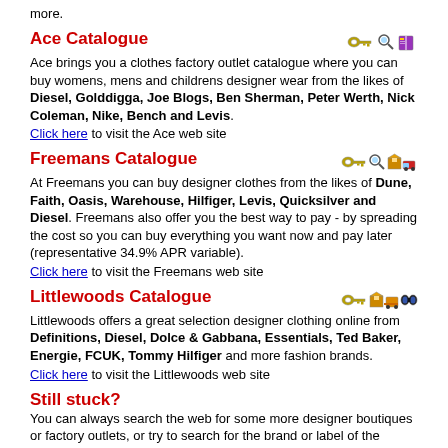more.
Ace Catalogue
[Figure (illustration): Small icons: key, magnifying glass, book]
Ace brings you a clothes factory outlet catalogue where you can buy womens, mens and childrens designer wear from the likes of Diesel, Golddigga, Joe Blogs, Ben Sherman, Peter Werth, Nick Coleman, Nike, Bench and Levis.
Click here to visit the Ace web site
Freemans Catalogue
[Figure (illustration): Small icons: key, magnifying glass, box, truck]
At Freemans you can buy designer clothes from the likes of Dune, Faith, Oasis, Warehouse, Hilfiger, Levis, Quicksilver and Diesel. Freemans also offer you the best way to pay - by spreading the cost so you can buy everything you want now and pay later (representative 34.9% APR variable).
Click here to visit the Freemans web site
Littlewoods Catalogue
[Figure (illustration): Small icons: key, box, forklift, binoculars]
Littlewoods offers a great selection designer clothing online from Definitions, Diesel, Dolce & Gabbana, Essentials, Ted Baker, Energie, FCUK, Tommy Hilfiger and more fashion brands.
Click here to visit the Littlewoods web site
Still stuck?
You can always search the web for some more designer boutiques or factory outlets, or try to search for the brand or label of the clothes you're looking for ...
[Figure (screenshot): Google search box with text input field, Search button, and Google logo]